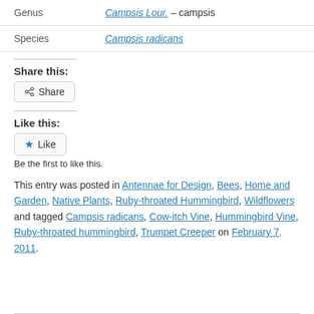| Genus | Campsis Lour. – campsis |
| Species | Campsis radicans |
Share this:
Share button
Like this:
Like button
Be the first to like this.
This entry was posted in Antennae for Design, Bees, Home and Garden, Native Plants, Ruby-throated Hummingbird, Wildflowers and tagged Campsis radicans, Cow-itch Vine, Hummingbird Vine, Ruby-throated hummingbird, Trumpet Creeper on February 7, 2011.